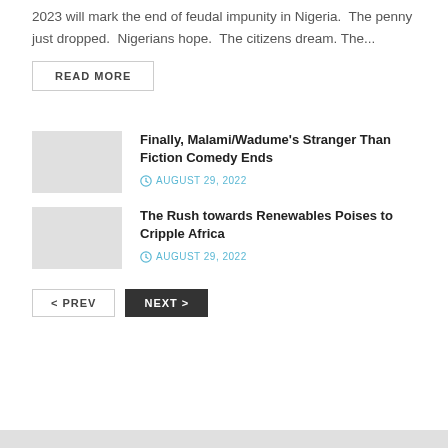2023 will mark the end of feudal impunity in Nigeria.  The penny just dropped.  Nigerians hope.  The citizens dream. The...
READ MORE
Finally, Malami/Wadume's Stranger Than Fiction Comedy Ends
AUGUST 29, 2022
The Rush towards Renewables Poises to Cripple Africa
AUGUST 29, 2022
< PREV
NEXT >